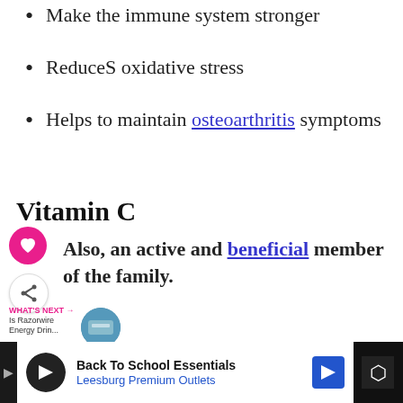Make the immune system stronger
ReduceS oxidative stress
Helps to maintain osteoarthritis symptoms
Vitamin C
Also, an active and beneficial member of the family.
Heals wound quickly
[Figure (infographic): Social interaction buttons: heart/like button (pink circle) and share button (white circle with share icon). Also a 'What's Next' promo with thumbnail for 'Is Razorwire Energy Drin...']
[Figure (screenshot): Ad banner at bottom: 'Back To School Essentials / Leesburg Premium Outlets' with play button logo and navigation arrow icon on dark background]